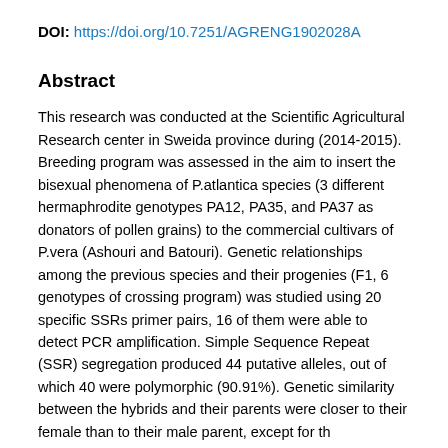DOI: https://doi.org/10.7251/AGRENG1902028A
Abstract
This research was conducted at the Scientific Agricultural Research center in Sweida province during (2014-2015). Breeding program was assessed in the aim to insert the bisexual phenomena of P.atlantica species (3 different hermaphrodite genotypes PA12, PA35, and PA37 as donators of pollen grains) to the commercial cultivars of P.vera (Ashouri and Batouri). Genetic relationships among the previous species and their progenies (F1, 6 genotypes of crossing program) was studied using 20 specific SSRs primer pairs, 16 of them were able to detect PCR amplification. Simple Sequence Repeat (SSR) segregation produced 44 putative alleles, out of which 40 were polymorphic (90.91%). Genetic similarity between the hybrids and their parents were closer to their female than to their male parent, except for th...